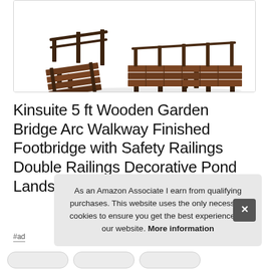[Figure (photo): Product photo of a wooden garden bridge with arc walkway and safety railings, shown from an angle, made of dark brown wood planks]
Kinsuite 5 ft Wooden Garden Bridge Arc Walkway Finished Footbridge with Safety Railings Double Railings Decorative Pond Landscaping Outdoor La
#ad
As an Amazon Associate I earn from qualifying purchases. This website uses the only necessary cookies to ensure you get the best experience on our website. More information